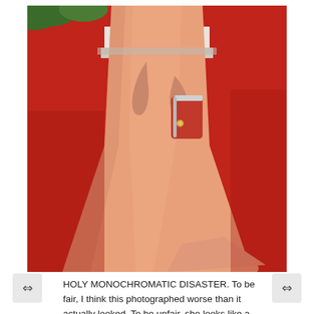[Figure (photo): A person wearing a peach/salmon colored floor-length gown on a red carpet, holding a silver/red clutch. Only the torso and lower body are visible. Green foliage in background.]
HOLY MONOCHROMATIC DISASTER. To be fair, I think this photographed worse than it actually looked. To be unfair, she looks like a finger.